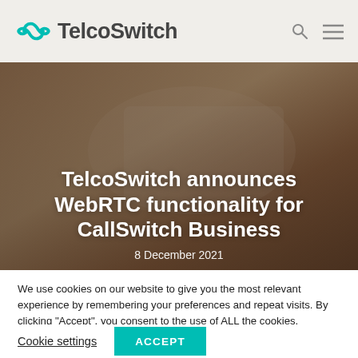TelcoSwitch
[Figure (screenshot): Hero image showing a person typing on a laptop with a soft warm background. Overlay text reads: TelcoSwitch announces WebRTC functionality for CallSwitch Business, dated 8 December 2021.]
TelcoSwitch announces WebRTC functionality for CallSwitch Business
8 December 2021
We use cookies on our website to give you the most relevant experience by remembering your preferences and repeat visits. By clicking "Accept", you consent to the use of ALL the cookies. However, you may visit "Cookie Settings" to provide a controlled consent.
Cookie settings   ACCEPT